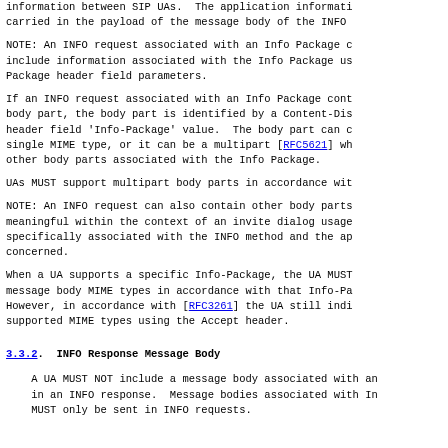information between SIP UAs.  The application informati carried in the payload of the message body of the INFO
NOTE: An INFO request associated with an Info Package c include information associated with the Info Package us Package header field parameters.
If an INFO request associated with an Info Package cont body part, the body part is identified by a Content-Dis header field 'Info-Package' value.  The body part can c single MIME type, or it can be a multipart [RFC5621] wh other body parts associated with the Info Package.
UAs MUST support multipart body parts in accordance wit
NOTE: An INFO request can also contain other body parts meaningful within the context of an invite dialog usage specifically associated with the INFO method and the ap concerned.
When a UA supports a specific Info-Package, the UA MUST message body MIME types in accordance with that Info-Pa However, in accordance with [RFC3261] the UA still indi supported MIME types using the Accept header.
3.3.2.  INFO Response Message Body
A UA MUST NOT include a message body associated with an in an INFO response.  Message bodies associated with In MUST only be sent in INFO requests.